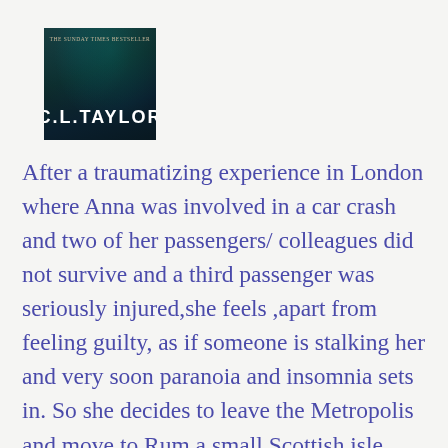[Figure (illustration): Book cover for C.L. Taylor novel — dark teal/teal-black atmospheric cover with author name 'C.L. TAYLOR' in white bold text and small text above reading 'THE SUNDAY TIMES BESTSELLER']
After a traumatizing experience in London where Anna was involved in a car crash and two of her passengers/ colleagues did not survive and a third passenger was seriously injured,she feels ,apart from feeling guilty, as if someone is stalking her and very soon paranoia and insomnia sets in. So she decides to leave the Metropolis and move to Rum,a small Scottish isle, where she is helping David,the owner, to run a small country hotel. A group of 7 hikers arrive in this charming hotel and they all bring their own secrets and problems. When a storm hits the island and the hotel is completely cut